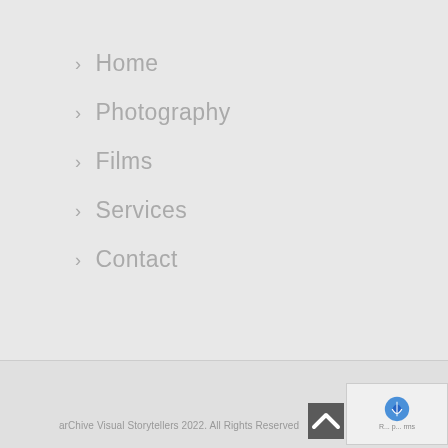› Home
› Photography
› Films
› Services
› Contact
arChive Visual Storytellers 2022. All Rights Reserved